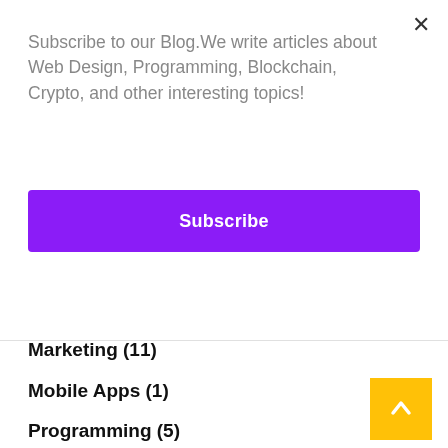Subscribe to our Blog.We write articles about Web Design, Programming, Blockchain, Crypto, and other interesting topics!
×
Subscribe
Marketing (11)
Mobile Apps (1)
Programming (5)
SEO (19)
Web Design (23)
Wordpress (8)
[Figure (other): Back to top button with upward chevron arrow, orange/yellow background]